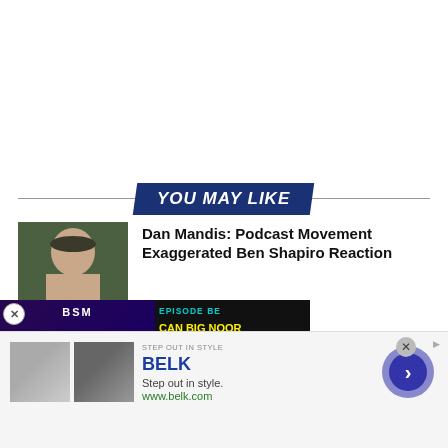YOU MAY LIKE
[Figure (photo): Thumbnail of bald man outdoors]
Dan Mandis: Podcast Movement Exaggerated Ben Shapiro Reaction
[Figure (screenshot): Media Noise podcast player overlay with BSM branding and episode about Big Noon Kickoff vs College Gameday]
lor Greene: MSNBC 'Trying to [cut off]
[Figure (advertisement): Belk advertisement - Step out in style. www.belk.com with two clothing thumbnail images and a navigation arrow button]